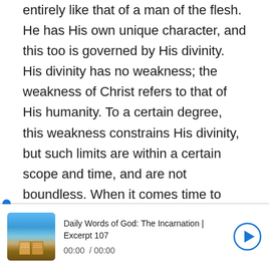entirely like that of a man of the flesh. He has His own unique character, and this too is governed by His divinity. His divinity has no weakness; the weakness of Christ refers to that of His humanity. To a certain degree, this weakness constrains His divinity, but such limits are within a certain scope and time, and are not boundless. When it comes time to carry out the work of His divinity, it is done regardless of His humanity. The humanity of Christ is entirely directed by His divinity. Aside from the normal life of His humanity, all other actions of His humanity are influenced, affected and directed by
[Figure (screenshot): Audio player with thumbnail image of open book with light rays, title 'Daily Words of God: The Incarnation | Excerpt 107', time display '00:00 / 00:00', and a play button]